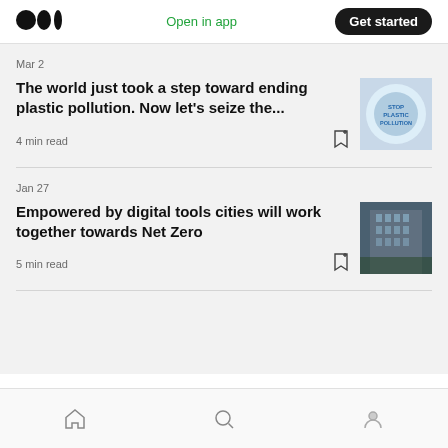Medium logo | Open in app | Get started
Mar 2
The world just took a step toward ending plastic pollution. Now let's seize the...
[Figure (photo): Thumbnail image showing a circular element with 'Stop Plastic Pollution' text]
4 min read
Jan 27
Empowered by digital tools cities will work together towards Net Zero
[Figure (photo): Thumbnail image of a modern glass building from below]
5 min read
Home | Search | Profile